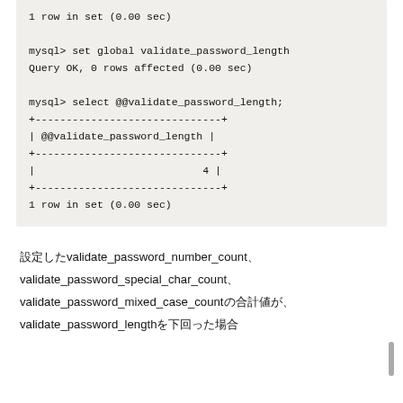[Figure (screenshot): MySQL terminal code block showing: 1 row in set (0.00 sec), then set global validate_password_length command, Query OK response, then select @@validate_password_length query with result table showing value 4, then 1 row in set (0.00 sec)]
設定したvalidate_password_number_count、validate_password_special_char_count、validate_password_mixed_case_countの合計値が、validate_password_lengthを下回った場合